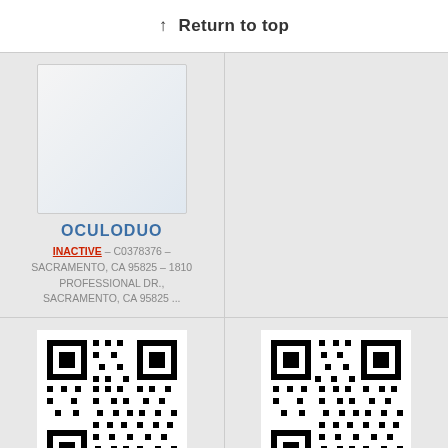↑ Return to top
[Figure (other): Blank white placeholder image for OCULODUO trademark listing]
OCULODUO
INACTIVE – C0378376 – SACRAMENTO, CA 95825 – 1810 PROFESSIONAL DR., SACRAMENTO, CA 95825 ...
[Figure (other): QR code for DESIGN DUO trademark listing]
DESIGN DUO
[Figure (other): QR code for UNICO DUO trademark listing]
UNICO DUO